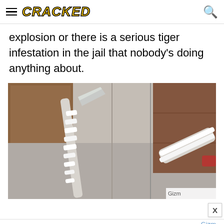CRACKED
explosion or there is a serious tiger infestation in the jail that nobody's doing anything about.
[Figure (photo): A jail-made shiv or improvised weapon wrapped in white cloth/tape, with a blade visible, resting on a concrete floor near wooden and brown surfaces.]
Gizm